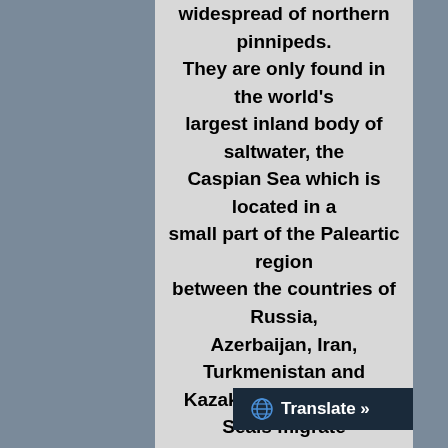widespread of northern pinnipeds. They are only found in the world's largest inland body of saltwater, the Caspian Sea which is located in a small part of the Paleartic region between the countries of Russia, Azerbaijan, Iran, Turkmenistan and Kazakhastan. Caspian Seals migrate to different parts of the Caspian Sea during different seasons however, they never leave the landlocked Caspian Sea. From May to September, most Caspian Seals reside in the southern part of the Caspian Sea. In autumn migrate north to the ice